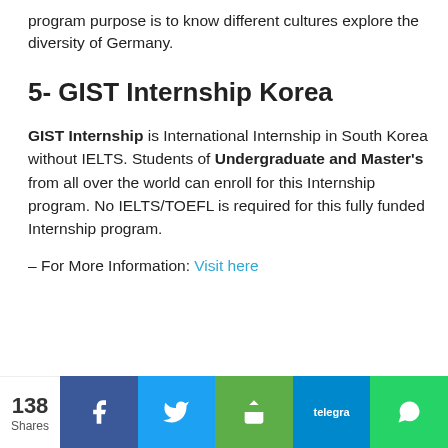program purpose is to know different cultures explore the diversity of Germany.
5- GIST Internship Korea
GIST Internship is International Internship in South Korea without IELTS. Students of Undergraduate and Master's from all over the world can enroll for this Internship program. No IELTS/TOEFL is required for this fully funded Internship program.
– For More Information: Visit here
138 Shares | Facebook | Twitter | Share | Telegram | WhatsApp